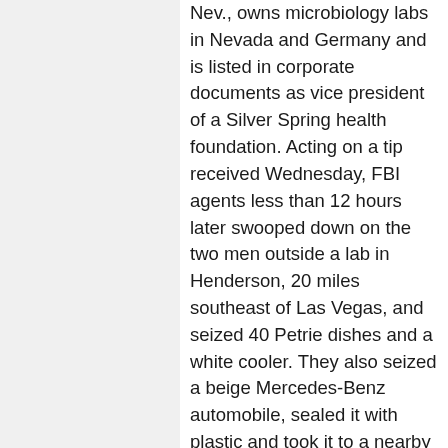Nev., owns microbiology labs in Nevada and Germany and is listed in corporate documents as vice president of a Silver Spring health foundation. Acting on a tip received Wednesday, FBI agents less than 12 hours later swooped down on the two men outside a lab in Henderson, 20 miles southeast of Las Vegas, and seized 40 Petrie dishes and a white cooler. They also seized a beige Mercedes-Benz automobile, sealed it with plastic and took it to a nearby Air Force base for examination. [...] In the 1995 case, Harris obtained the plague microbes from the American Type Culture Collection, a nonprofit Rockville firm that supplies microorganisms